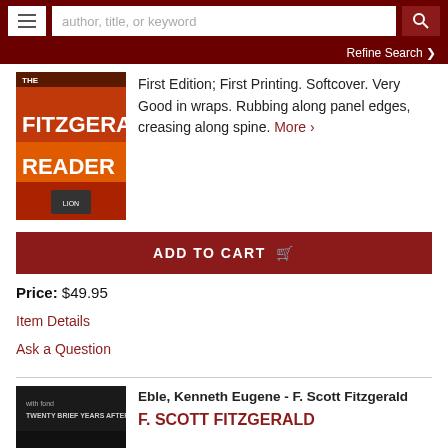[Figure (screenshot): Website navigation bar with hamburger menu, search input placeholder 'author, title, or keyword', and search button on dark red background]
Refine Search ❯
[Figure (photo): Book cover: The Fitzgerald Reader, red and orange cover]
First Edition; First Printing. Softcover. Very Good in wraps. Rubbing along panel edges, creasing along spine. More ›
ADD TO CART 🛒
Price: $49.95
Item Details
Ask a Question
[Figure (photo): Book cover: dark spine visible, partial view of second listing book]
Eble, Kenneth Eugene - F. Scott Fitzgerald
F. SCOTT FITZGERALD